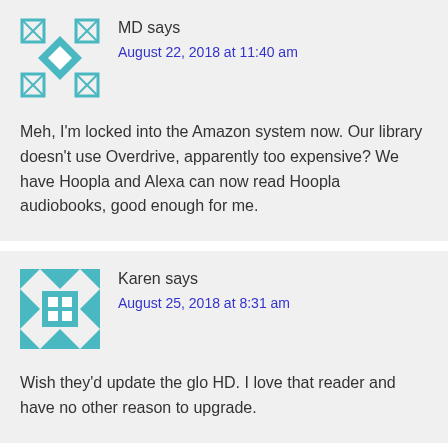MD says
August 22, 2018 at 11:40 am
Meh, I'm locked into the Amazon system now. Our library doesn't use Overdrive, apparently too expensive? We have Hoopla and Alexa can now read Hoopla audiobooks, good enough for me.
Karen says
August 25, 2018 at 8:31 am
Wish they'd update the glo HD. I love that reader and have no other reason to upgrade.